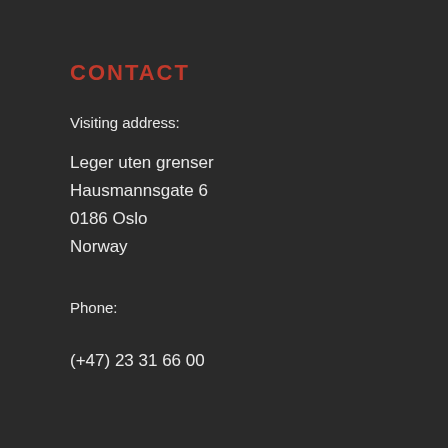CONTACT
Visiting address:
Leger uten grenser
Hausmannsgate 6
0186 Oslo
Norway
Phone:
(+47) 23 31 66 00